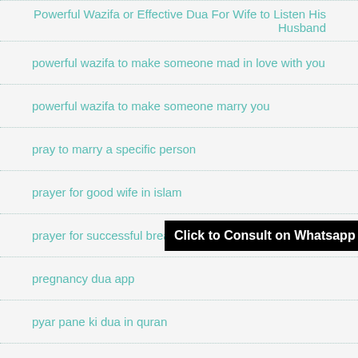Powerful Wazifa or Effective Dua For Wife to Listen His Husband
powerful wazifa to make someone mad in love with you
powerful wazifa to make someone marry you
pray to marry a specific person
prayer for good wife in islam
prayer for successful breastfeeding
pregnancy dua app
pyar pane ki dua in quran
quran surah for good luck
quran verses about allah's love
[Figure (other): Black banner overlay with text 'Click to Consult on Whatsapp']